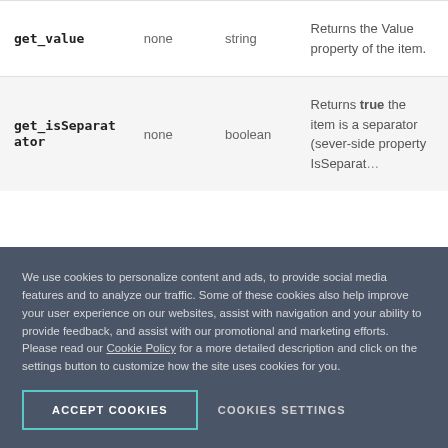| Method | Arguments | Returns type | Description |
| --- | --- | --- | --- |
| get_value | none | string | Returns the Value property of the item. |
| get_isSeparator | none | boolean | Returns true the item is a separator (sever-side property IsSeparator… |
We use cookies to personalize content and ads, to provide social media features and to analyze our traffic. Some of these cookies also help improve your user experience on our websites, assist with navigation and your ability to provide feedback, and assist with our promotional and marketing efforts. Please read our Cookie Policy for a more detailed description and click on the settings button to customize how the site uses cookies for you.